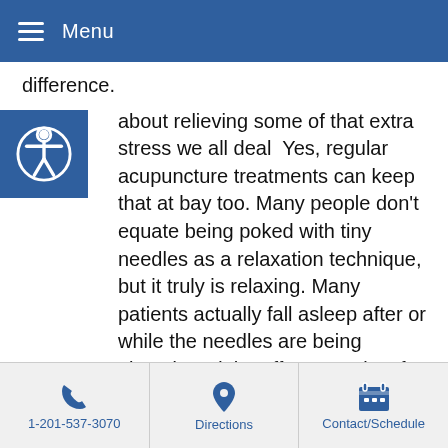Menu
difference.
about relieving some of that extra stress we all deal Yes, regular acupuncture treatments can keep that at bay too. Many people don't equate being poked with tiny needles as a relaxation technique, but it truly is relaxing. Many patients actually fall asleep after or while the needles are being placed. And the effects can last for days or even weeks. So the next time you feel irritable and overwhelmed, check out your local licensed acupuncturist.
Regular acupuncture treatments can help you save money. What? It's true. This goes back to the previous benefits. If you don't need as many pharmaceuticals, you will ultimately save money. Also, conditions like stress, anxiety, fatigue and
1-201-537-3070 | Directions | Contact/Schedule